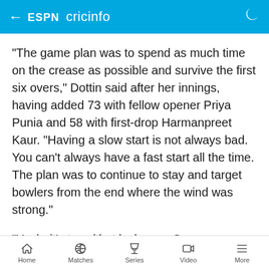ESPN cricinfo
"The game plan was to spend as much time on the crease as possible and survive the first six overs," Dottin said after her innings, having added 73 with fellow opener Priya Punia and 58 with first-drop Harmanpreet Kaur. "Having a slow start is not always bad. You can't always have a fast start all the time. The plan was to continue to stay and target bowlers from the end where the wind was strong."
"Yeah, it's true (that luck gave Supernovas free hits), but I wanted to cash in on one," she said.
"To be honest, it's fun batting with Punia. We enjoy
Home  Matches  Series  Video  More